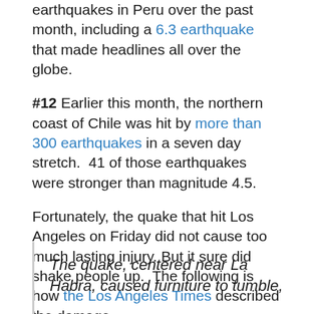earthquakes in Peru over the past month, including a 6.3 earthquake that made headlines all over the globe.
#12 Earlier this month, the northern coast of Chile was hit by more than 300 earthquakes in a seven day stretch. 41 of those earthquakes were stronger than magnitude 4.5.
Fortunately, the quake that hit Los Angeles on Friday did not cause too much lasting injury. But it sure did shake people up. The following is how the Los Angeles Times described the damage...
The quake, centered near La Habra, caused furniture to tumble,